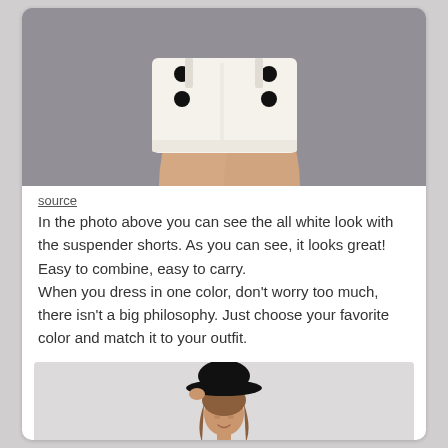[Figure (photo): Photo of white suspender shorts with buttons, worn by a person, against a grey-blue background. Only the torso/legs area visible.]
source
In the photo above you can see the all white look with the suspender shorts. As you can see, it looks great! Easy to combine, easy to carry.
When you dress in one color, don't worry too much, there isn't a big philosophy. Just choose your favorite color and match it to your outfit.
[Figure (photo): Photo of a young woman wearing a black wide-brim hat, white blouse with black bow tie, and black suspender shorts/overalls, posed against a white background.]